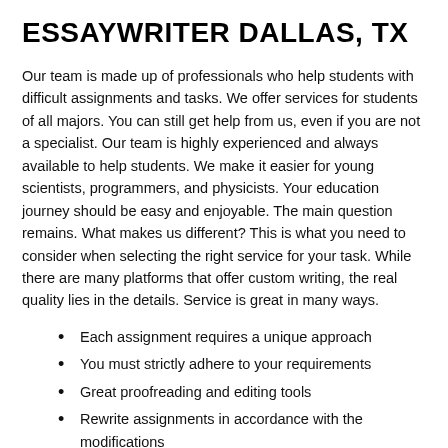ESSAYWRITER DALLAS, TX
Our team is made up of professionals who help students with difficult assignments and tasks. We offer services for students of all majors. You can still get help from us, even if you are not a specialist. Our team is highly experienced and always available to help students. We make it easier for young scientists, programmers, and physicists. Your education journey should be easy and enjoyable. The main question remains. What makes us different? This is what you need to consider when selecting the right service for your task. While there are many platforms that offer custom writing, the real quality lies in the details. Service is great in many ways.
Each assignment requires a unique approach
You must strictly adhere to your requirements
Great proofreading and editing tools
Rewrite assignments in accordance with the modifications